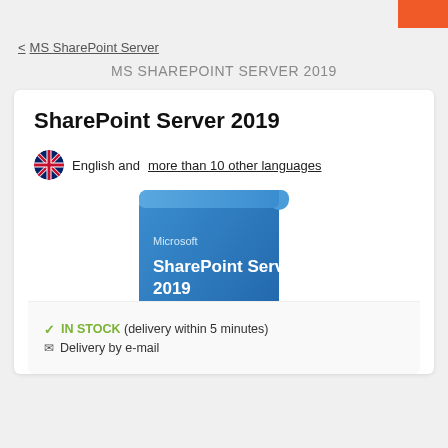< MS SharePoint Server
MS SHAREPOINT SERVER 2019
SharePoint Server 2019
English and more than 10 other languages
[Figure (photo): Microsoft SharePoint Server 2019 software box art on a blue gradient background, with a green delivery badge showing 5 MIN in the bottom right corner]
✓ IN STOCK (delivery within 5 minutes)
Delivery by e-mail